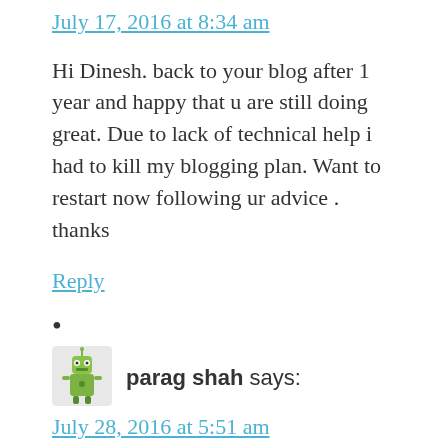July 17, 2016 at 8:34 am
Hi Dinesh. back to your blog after 1 year and happy that u are still doing great. Due to lack of technical help i had to kill my blogging plan. Want to restart now following ur advice . thanks
Reply
•
[Figure (illustration): Small robot/alien avatar icon for user parag shah]
parag shah says:
July 28, 2016 at 5:51 am
Thanks for sharing knowledge. Very handy article and it is best for the all